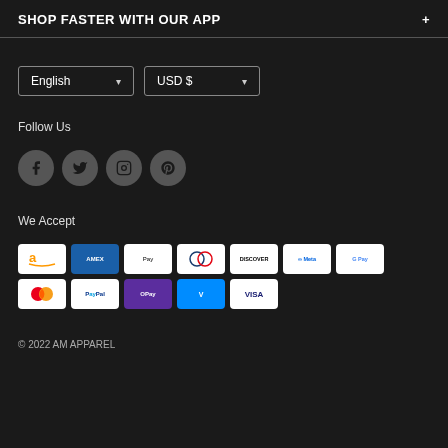SHOP FASTER WITH OUR APP
English  USD $
Follow Us
[Figure (other): Four social media icons: Facebook, Twitter, Instagram, Pinterest]
We Accept
[Figure (other): Payment method logos: Amazon, Amex, Apple Pay, Diners Club, Discover, Meta Pay, Google Pay, Mastercard, PayPal, OPay, Venmo, Visa]
© 2022 AM APPAREL